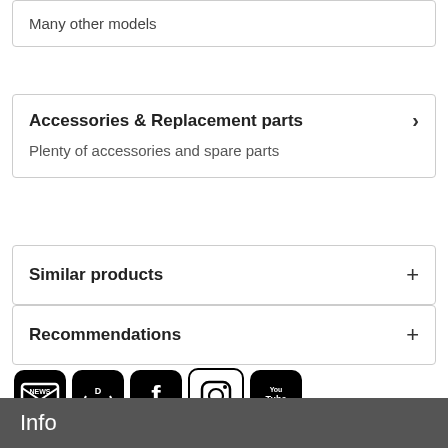Many other models
Accessories & Replacement parts
Plenty of accessories and spare parts
Similar products
Recommendations
[Figure (other): Social media icons: Newsletter, DLOG, Facebook, Instagram, YouTube]
Info